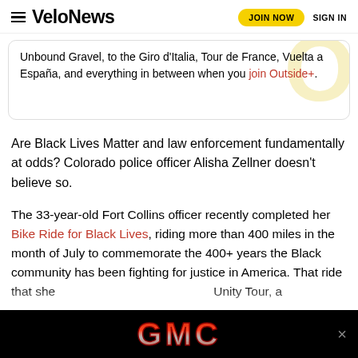VeloNews — JOIN NOW  SIGN IN
Unbound Gravel, to the Giro d'Italia, Tour de France, Vuelta a España, and everything in between when you join Outside+.
Are Black Lives Matter and law enforcement fundamentally at odds? Colorado police officer Alisha Zellner doesn't believe so.
The 33-year-old Fort Collins officer recently completed her Bike Ride for Black Lives, riding more than 400 miles in the month of July to commemorate the 400+ years the Black community has been fighting for justice in America. That ride that she ... Unity Tour, a ...
[Figure (other): GMC advertisement banner at bottom of page]